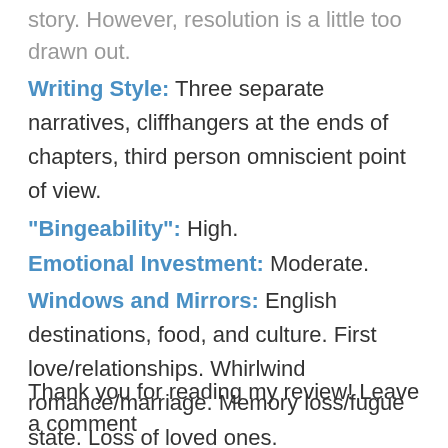story. However, resolution is a little too drawn out.
Writing Style: Three separate narratives, cliffhangers at the ends of chapters, third person omniscient point of view.
"Bingeability": High.
Emotional Investment: Moderate.
Windows and Mirrors: English destinations, food, and culture. First love/relationships. Whirlwind romance/marriage. Memory loss/fugue state. Loss of loved ones.
Overall Thoughts: Enjoyable and entertaining, but not very memorable.
Recommendation: Yes, absolutely.
Rating: 4/5
Thank you for reading my review! Leave a comment